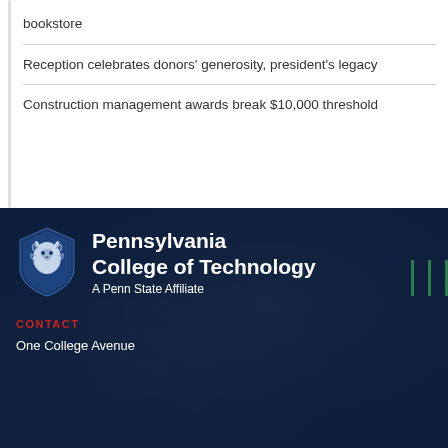bookstore
Reception celebrates donors’ generosity, president’s legacy
Construction management awards break $10,000 threshold
[Figure (logo): Pennsylvania College of Technology shield logo with lion, alongside text 'Pennsylvania College of Technology — A Penn State Affiliate']
CONTACT
One College Avenue